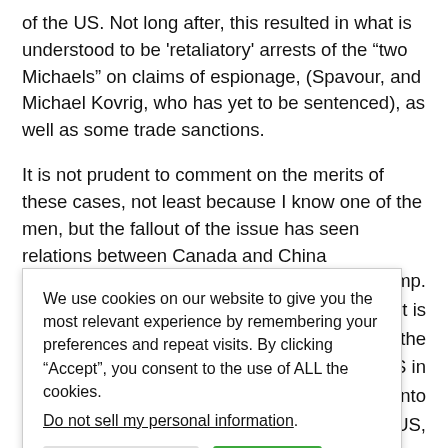of the US. Not long after, this resulted in what is understood to be 'retaliatory' arrests of the "two Michaels" on claims of espionage, (Spavour, and Michael Kovrig, who has yet to be sentenced), as well as some trade sanctions.
It is not prudent to comment on the merits of these cases, not least because I know one of the men, but the fallout of the issue has seen relations between Canada and China [obscured] the US camp.
[obscured] e, but it is [obscured] here given the [obscured] f the US in [obscured] stepped into [obscured] le' with the US,
[Figure (screenshot): Cookie consent banner overlay with text: 'We use cookies on our website to give you the most relevant experience by remembering your preferences and repeat visits. By clicking "Accept", you consent to the use of ALL the cookies. Do not sell my personal information.' with Cookie Settings and Accept buttons.]
a's response and how the world perceives it. It is a longstanding reality that